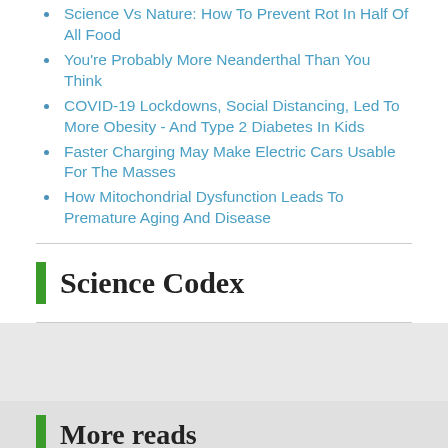Science Vs Nature: How To Prevent Rot In Half Of All Food
You're Probably More Neanderthal Than You Think
COVID-19 Lockdowns, Social Distancing, Led To More Obesity - And Type 2 Diabetes In Kids
Faster Charging May Make Electric Cars Usable For The Masses
How Mitochondrial Dysfunction Leads To Premature Aging And Disease
Science Codex
More reads
Weekend Diversion: Three Fantastic Fake Film Trailers